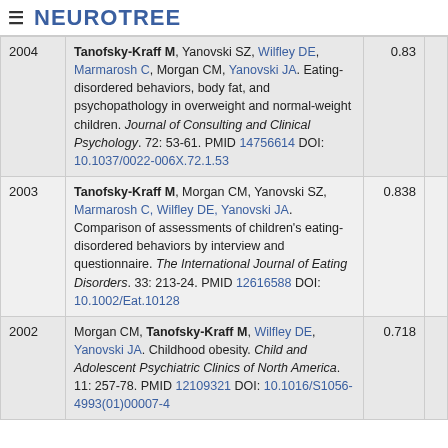≡ NEUROTREE
| Year | Reference | Score |
| --- | --- | --- |
| 2004 | Tanofsky-Kraff M, Yanovski SZ, Wilfley DE, Marmarosh C, Morgan CM, Yanovski JA. Eating-disordered behaviors, body fat, and psychopathology in overweight and normal-weight children. Journal of Consulting and Clinical Psychology. 72: 53-61. PMID 14756614 DOI: 10.1037/0022-006X.72.1.53 | 0.83 |
| 2003 | Tanofsky-Kraff M, Morgan CM, Yanovski SZ, Marmarosh C, Wilfley DE, Yanovski JA. Comparison of assessments of children's eating-disordered behaviors by interview and questionnaire. The International Journal of Eating Disorders. 33: 213-24. PMID 12616588 DOI: 10.1002/Eat.10128 | 0.838 |
| 2002 | Morgan CM, Tanofsky-Kraff M, Wilfley DE, Yanovski JA. Childhood obesity. Child and Adolescent Psychiatric Clinics of North America. 11: 257-78. PMID 12109321 DOI: 10.1016/S1056-4993(01)00007-4 | 0.718 |